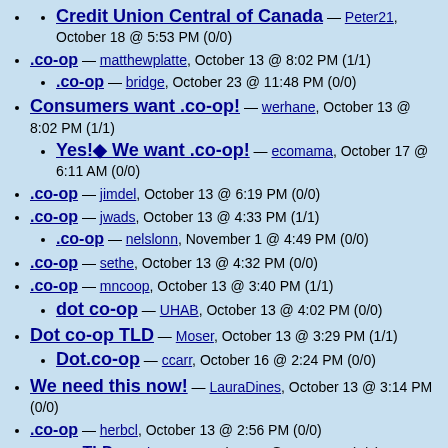Credit Union Central of Canada — Peter21, October 18 @ 5:53 PM (0/0)
.co-op — matthewplatte, October 13 @ 8:02 PM (1/1)
.co-op — bridge, October 23 @ 11:48 PM (0/0)
Consumers want .co-op! — werhane, October 13 @ 8:02 PM (1/1)
Yes!◆ We want .co-op! — ecomama, October 17 @ 6:11 AM (0/0)
.co-op — jimdel, October 13 @ 6:19 PM (0/0)
.co-op — jwads, October 13 @ 4:33 PM (1/1)
.co-op — nelslonn, November 1 @ 4:49 PM (0/0)
.co-op — sethe, October 13 @ 4:32 PM (0/0)
.co-op — mncoop, October 13 @ 3:40 PM (1/1)
dot co-op — UHAB, October 13 @ 4:02 PM (0/0)
Dot co-op TLD — Moser, October 13 @ 3:29 PM (1/1)
Dot.co-op — ccarr, October 16 @ 2:24 PM (0/0)
We need this now! — LauraDines, October 13 @ 3:14 PM (0/0)
.co-op — herbcl, October 13 @ 2:56 PM (0/0)
.co-op TLD — ethosetc, October 12 @ 11:44 PM (3/6)
co-op TLD — maryc, October 22 @ 5:01 PM (0/0)
.co-op designation — phssra, October 13 @ 9:05 PM (1/2)
Co-op 'suffix' — Equaliser, October 14 @ 9:29 AM (1/1)
COMMENTS RE TLD — jacqui